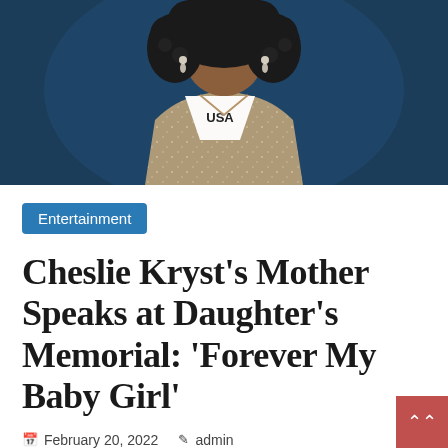[Figure (photo): Woman wearing a pageant sash labeled 'USA' in a sparkly gown with curly hair, photographed against a blue background]
Entertainment
Cheslie Kryst's Mother Speaks at Daughter's Memorial: 'Forever My Baby Girl'
February 20, 2022  admin